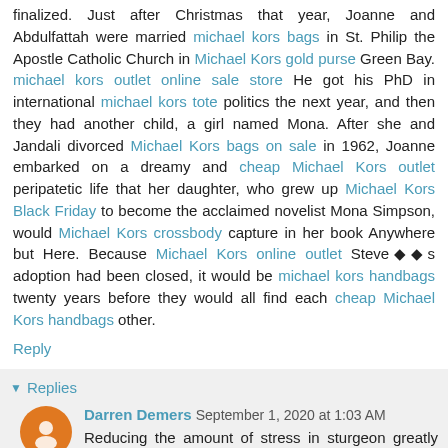finalized. Just after Christmas that year, Joanne and Abdulfattah were married michael kors bags in St. Philip the Apostle Catholic Church in Michael Kors gold purse Green Bay. michael kors outlet online sale store He got his PhD in international michael kors tote politics the next year, and then they had another child, a girl named Mona. After she and Jandali divorced Michael Kors bags on sale in 1962, Joanne embarked on a dreamy and cheap Michael Kors outlet peripatetic life that her daughter, who grew up Michael Kors Black Friday to become the acclaimed novelist Mona Simpson, would Michael Kors crossbody capture in her book Anywhere but Here. Because Michael Kors online outlet Steve◆◆s adoption had been closed, it would be michael kors handbags twenty years before they would all find each cheap Michael Kors handbags other.
Reply
Replies
Darren Demers  September 1, 2020 at 1:03 AM
Reducing the amount of stress in sturgeon greatly increases their health and viability in